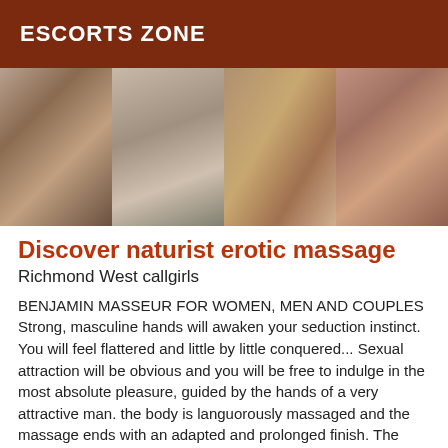ESCORTS ZONE
[Figure (photo): Four-panel photo strip showing male figures]
Discover naturist erotic massage
Richmond West callgirls
BENJAMIN MASSEUR FOR WOMEN, MEN AND COUPLES Strong, masculine hands will awaken your seduction instinct. You will feel flattered and little by little conquered... Sexual attraction will be obvious and you will be free to indulge in the most absolute pleasure, guided by the hands of a very attractive man. the body is languorously massaged and the massage ends with an adapted and prolonged finish. The sensation of well-being is total. CONTACT ME AT 0613 866 881 FOR AN APPOINTMENT OR FOR MORE INFORMATION